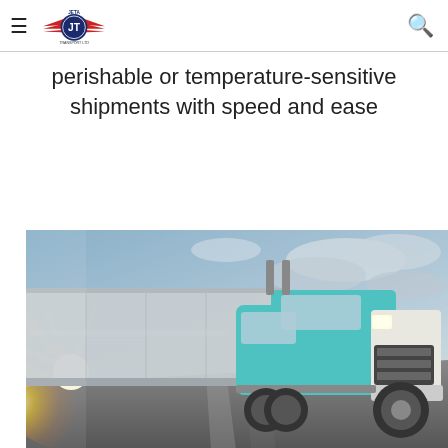JETA Transport Ltd logo, hamburger menu, search icon
perishable or temperature-sensitive shipments with speed and ease
[Figure (photo): A large teal/white semi-truck cab and trailer speeding on a highway with motion blur effect; bright sunburst light on the left, dramatic cloudy sky in background.]